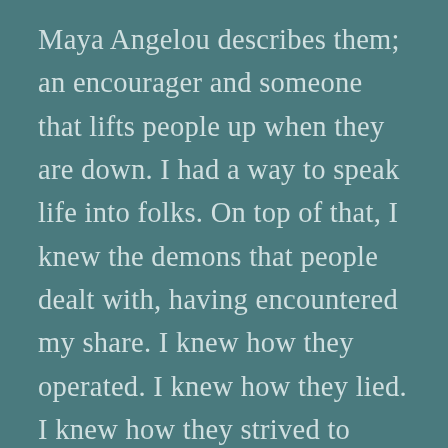Maya Angelou describes them; an encourager and someone that lifts people up when they are down. I had a way to speak life into folks. On top of that, I knew the demons that people dealt with, having encountered my share. I knew how they operated. I knew how they lied. I knew how they strived to steal and kill. I knew how to help people over come after hearing the rumors of